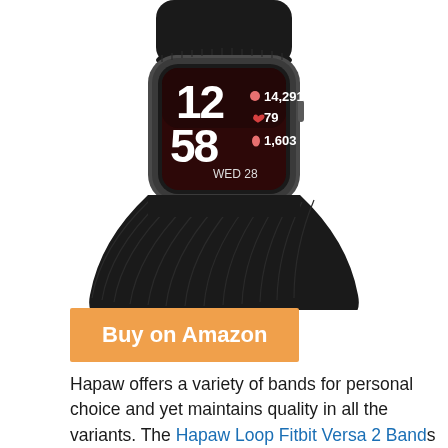[Figure (photo): Fitbit Versa 2 smartwatch with black nylon loop band. The watch face shows time 12:58, date WED 28, steps 14,291, heart rate 79, and calories 1,603. The watch body is dark gray/graphite colored with a square face.]
Buy on Amazon
Hapaw offers a variety of bands for personal choice and yet maintains quality in all the variants. The Hapaw Loop Fitbit Versa 2 Bands all around, It handles water and has a secure design. Breathable, compatible with fitbit versa nylon bands allow more air flow and help to